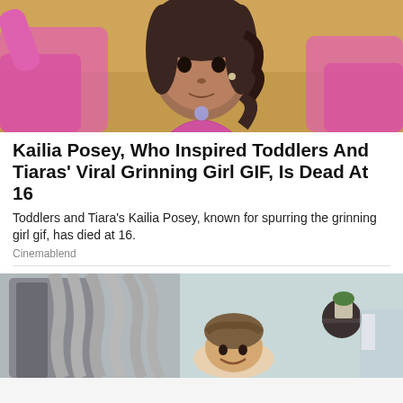[Figure (photo): Young girl in pink outfit with curly dark hair, reaching up with one arm, posed against a yellow/tan wall background.]
Kailia Posey, Who Inspired Toddlers And Tiaras' Viral Grinning Girl GIF, Is Dead At 16
Toddlers and Tiara's Kailia Posey, known for spurring the grinning girl gif, has died at 16.
Cinemablend
[Figure (photo): Person lying on a treatment or medical bed surrounded by equipment with grey tubes/hoses, in a clinical or spa setting.]